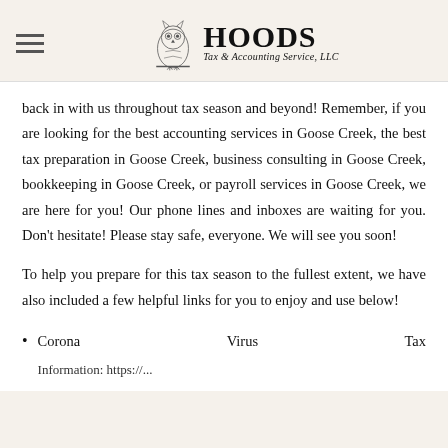HOODS Tax & Accounting Service, LLC
back in with us throughout tax season and beyond! Remember, if you are looking for the best accounting services in Goose Creek, the best tax preparation in Goose Creek, business consulting in Goose Creek, bookkeeping in Goose Creek, or payroll services in Goose Creek, we are here for you! Our phone lines and inboxes are waiting for you. Don't hesitate! Please stay safe, everyone. We will see you soon!
To help you prepare for this tax season to the fullest extent, we have also included a few helpful links for you to enjoy and use below!
Corona Virus Tax
Information: https://...